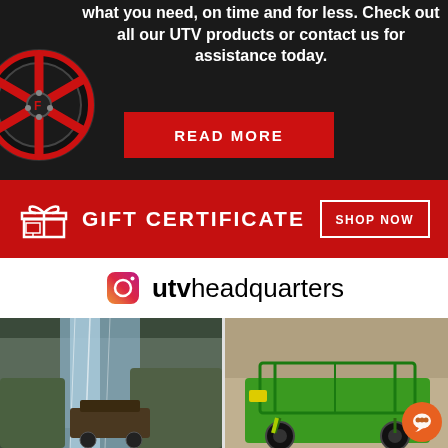what you need, on time and for less. Check out all our UTV products or contact us for assistance today.
[Figure (illustration): Red and black ATV wheel/rim on the left side of the dark section]
[Figure (other): READ MORE red button]
[Figure (infographic): Red gift certificate banner with gift icon, GIFT CERTIFICATE text, and SHOP NOW button]
[Figure (logo): Instagram logo icon followed by utvheadquarters text]
[Figure (photo): UTV driving through waterfall/water feature outdoors]
[Figure (photo): Green UTV/side-by-side vehicle parked inside a warehouse/showroom, with orange chat button overlay]